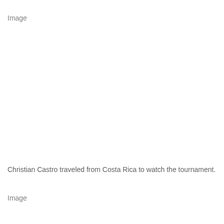[Figure (photo): Image placeholder at top of page]
Christian Castro traveled from Costa Rica to watch the tournament.
[Figure (photo): Image placeholder at bottom of page]